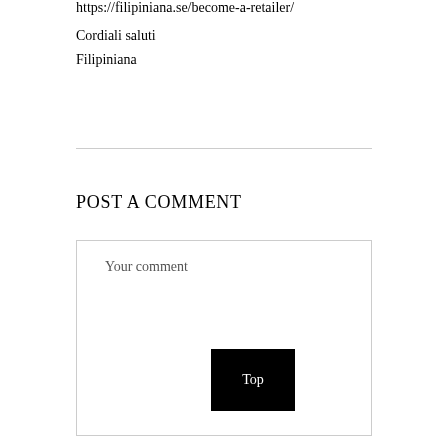https://filipiniana.se/become-a-retailer/
Cordiali saluti
Filipiniana
POST A COMMENT
Your comment
Top